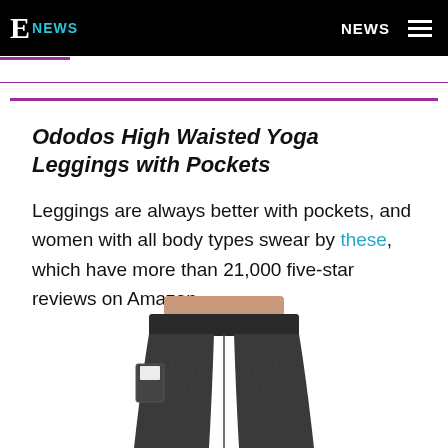E NEWS  |  NEWS
Ododos High Waisted Yoga Leggings with Pockets
Leggings are always better with pockets, and women with all body types swear by these, which have more than 21,000 five-star reviews on Amazon.
[Figure (photo): Dark grey/charcoal high-waisted yoga leggings with side pockets, shown from waist to mid-thigh on a model]